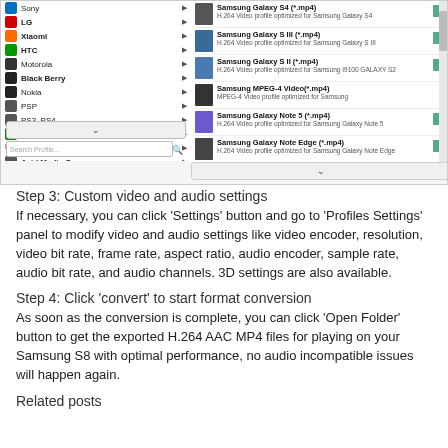[Figure (screenshot): Software interface showing a profile selection panel with left list of devices (Sony, LG, Xiaomi, HTC, Motorola, Black Berry, Nokia, PSP, PS3 PS4, Xbox, Wii and DS, Avid Media Composer, Adobe Premiere/Sony Vegas) and right panel showing Samsung output profiles (Samsung Galaxy S4 *.mp4, Samsung Galaxy S III *.mp4, Samsung Galaxy S II *.mp4, Samsung MPEG-4 Video *.mp4, Samsung Galaxy Note 5 *.mp4, Samsung Galaxy Note Edge *.mp4, Samsung Galaxy Note 4 *.mp4) with H.264 video profile descriptions, search box and scroll controls.]
Step 3: Custom video and audio settings
If necessary, you can click ‘Settings’ button and go to ‘Profiles Settings’ panel to modify video and audio settings like video encoder, resolution, video bit rate, frame rate, aspect ratio, audio encoder, sample rate, audio bit rate, and audio channels. 3D settings are also available.
Step 4: Click ‘convert’ to start format conversion
As soon as the conversion is complete, you can click ‘Open Folder’ button to get the exported H.264 AAC MP4 files for playing on your Samsung S8 with optimal performance, no audio incompatible issues will happen again.
Related posts